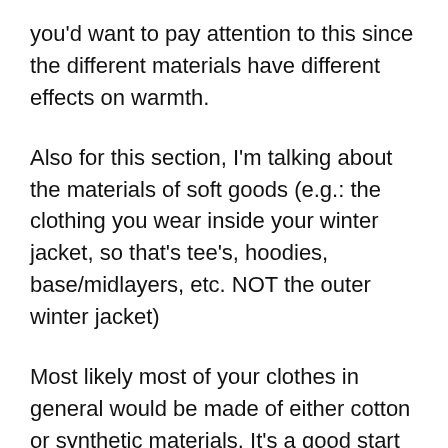you'd want to pay attention to this since the different materials have different effects on warmth.
Also for this section, I'm talking about the materials of soft goods (e.g.: the clothing you wear inside your winter jacket, so that's tee's, hoodies, base/midlayers, etc. NOT the outer winter jacket)
Most likely most of your clothes in general would be made of either cotton or synthetic materials. It's a good start actually. If you're just stepping outside and it's a relaxed, easy, and chill (ha) stroll on plowed roads, you're fine. If you're thinking of winter activewear, athletics, and winter sports, yea no. Cotton's the worst thing you can do.